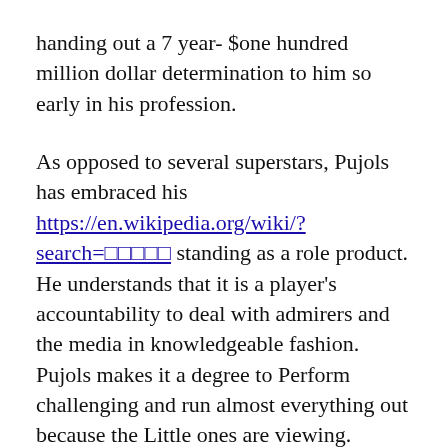handing out a 7 year- $one hundred million dollar determination to him so early in his profession.
As opposed to several superstars, Pujols has embraced his https://en.wikipedia.org/wiki/?search=□□□□□ standing as a role product. He understands that it is a player's accountability to deal with admirers and the media in knowledgeable fashion. Pujols makes it a degree to Perform challenging and run almost everything out because the Little ones are viewing.